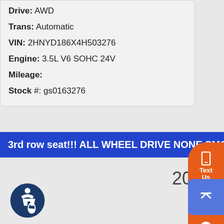Drive: AWD
Trans: Automatic
VIN: 2HNYD186X4H503276
Engine: 3.5L V6 SOHC 24V
Mileage:
Stock #: gs0163276
3rd row seat!!! ALL WHEEL DRIVE NONE SMOKE
2005 Acura MDX
Premium
[Figure (other): Orange floating action bar with icons: phone/text, chat, messenger, call]
[Figure (other): Blue scroll-to-top button with upward chevron]
[Figure (other): Accessibility icon (wheelchair symbol in dark blue circle)]